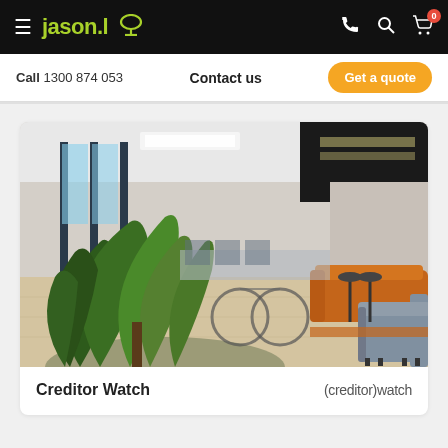jason.l — navigation bar with hamburger menu, logo, phone, search, and cart icons
Call 1300 874 053   Contact us   Get a quote
[Figure (photo): Modern open-plan office interior with green plants in foreground, orange leather sofa, grey armchairs, bicycles, floor-to-ceiling windows, light wood flooring, and workstation area in the background with overhead lighting.]
Creditor Watch   (creditor)watch